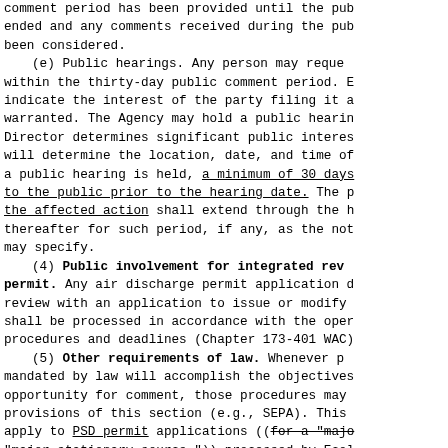comment period has been provided until the public comment period has ended and any comments received during the public comment period have been considered.
(e) Public hearings. Any person may request a public hearing within the thirty-day public comment period. Each written request shall indicate the interest of the party filing it and the reasons why a hearing is warranted. The Agency may hold a public hearing if the Agency Director determines significant public interest exists. The Agency Director will determine the location, date, and time of the hearing. If a public hearing is held, a minimum of 30 days notice shall be provided to the public prior to the hearing date. The public comment period for the affected action shall extend through the hearing date and continue thereafter for such period, if any, as the notice of public hearing may specify.
(4) Public involvement for integrated review of an air discharge permit. Any air discharge permit application designated for integrated review with an application to issue or modify a water quality permit shall be processed in accordance with the operative applications procedures and deadlines (Chapter 173-401 WAC).
(5) Other requirements of law. Whenever procedures specifically mandated by law will accomplish the objectives of providing the public opportunity for comment, those procedures may substitute for the provisions of this section (e.g., SEPA). This section does not apply to PSD permit applications ((for a "major new source" or "major stationary source.")) processed by Ecology.
(6) Public information. All information i